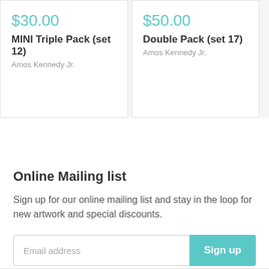$30.00
MINI Triple Pack (set 12)
Amos Kennedy Jr.
$50.00
Double Pack (set 17)
Amos Kennedy Jr.
Online Mailing list
Sign up for our online mailing list and stay in the loop for new artwork and special discounts.
Email address
Sign up